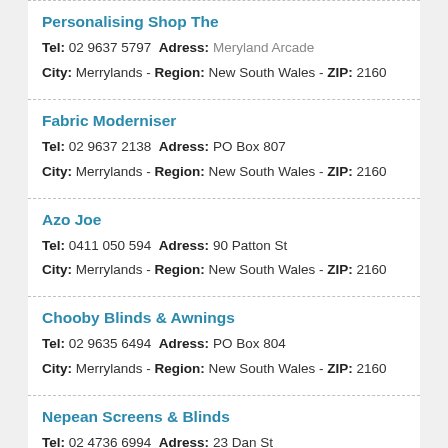Personalising Shop The
Tel: 02 9637 5797 Adress: Meryland Arcade
City: Merrylands - Region: New South Wales - ZIP: 2160
Fabric Moderniser
Tel: 02 9637 2138 Adress: PO Box 807
City: Merrylands - Region: New South Wales - ZIP: 2160
Azo Joe
Tel: 0411 050 594 Adress: 90 Patton St
City: Merrylands - Region: New South Wales - ZIP: 2160
Chooby Blinds & Awnings
Tel: 02 9635 6494 Adress: PO Box 804
City: Merrylands - Region: New South Wales - ZIP: 2160
Nepean Screens & Blinds
Tel: 02 4736 6994 Adress: 23 Dan St
City: Merrylands - Region: New South Wales - ZIP: 2160